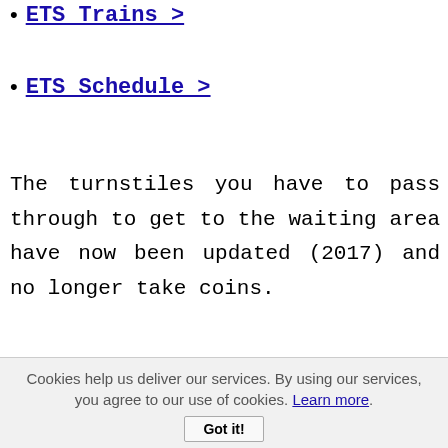ETS Trains >
ETS Schedule >
The turnstiles you have to pass through to get to the waiting area have now been updated (2017) and no longer take coins.
You now have to buy a ticket from the new ticket kiosk, then scan the ticket
Cookies help us deliver our services. By using our services, you agree to our use of cookies. Learn more. Got it!